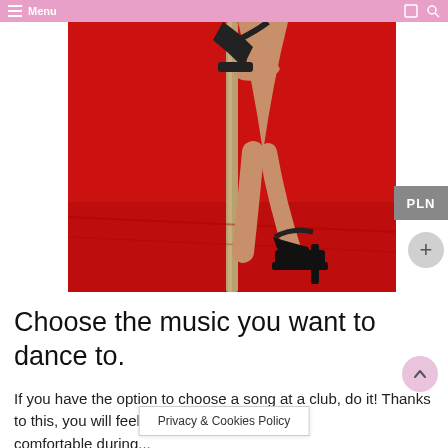Menu
[Figure (photo): Close-up of a dancer's legs wearing black high heels next to a pole, with a bright red background and red wooden floor.]
Choose the music you want to dance to.
If you have the option to choose a song at a club, do it! Thanks to this, you will feel more comfortable during...
Privacy & Cookies Policy